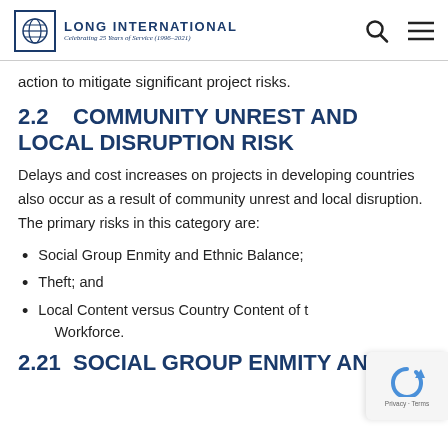Long International — Celebrating 25 Years of Service (1996–2021)
action to mitigate significant project risks.
2.2    COMMUNITY UNREST AND LOCAL DISRUPTION RISK
Delays and cost increases on projects in developing countries also occur as a result of community unrest and local disruption. The primary risks in this category are:
Social Group Enmity and Ethnic Balance;
Theft; and
Local Content versus Country Content of the Workforce.
2.21   Social Group Enmity and